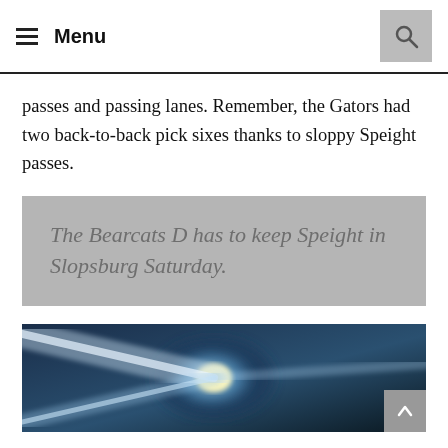Menu
passes and passing lanes. Remember, the Gators had two back-to-back pick sixes thanks to sloppy Speight passes.
The Bearcats D has to keep Speight in Slopsburg Saturday.
[Figure (photo): Abstract photo with light beams and bright glowing center on a blue-dark background]